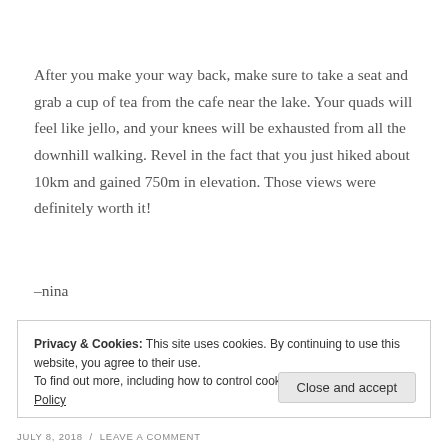After you make your way back, make sure to take a seat and grab a cup of tea from the cafe near the lake. Your quads will feel like jello, and your knees will be exhausted from all the downhill walking. Revel in the fact that you just hiked about 10km and gained 750m in elevation. Those views were definitely worth it!
–nina
Privacy & Cookies: This site uses cookies. By continuing to use this website, you agree to their use.
To find out more, including how to control cookies, see here: Cookie Policy
JULY 8, 2018  /  LEAVE A COMMENT